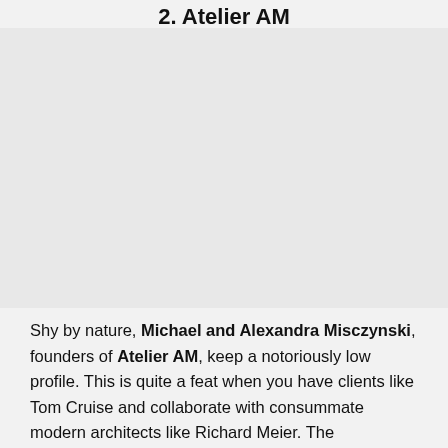2. Atelier AM
[Figure (photo): Large image area, appears blank/gray on this page crop]
Shy by nature, Michael and Alexandra Misczynski, founders of Atelier AM, keep a notoriously low profile. This is quite a feat when you have clients like Tom Cruise and collaborate with consummate modern architects like Richard Meier. The